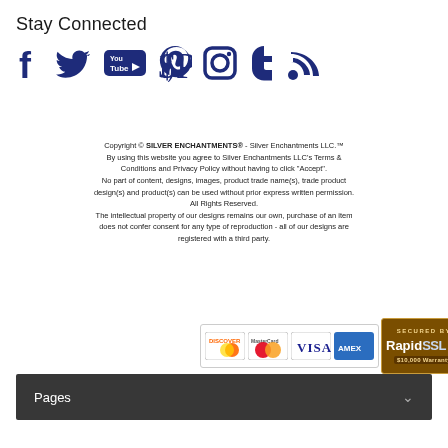Stay Connected
[Figure (illustration): Social media icons: Facebook, Twitter, YouTube, Pinterest, Instagram, Tumblr, RSS feed — dark navy/indigo color]
Copyright © SILVER ENCHANTMENTS® - Silver Enchantments LLC.™ By using this website you agree to Silver Enchantments LLC's Terms & Conditions and Privacy Policy without having to click "Accept". No part of content, designs, images, product trade name(s), trade product design(s) and product(s) can be used without prior express written permission. All Rights Reserved. The intellectual property of our designs remains our own, purchase of an item does not confer consent for any type of reproduction - all of our designs are registered with a third party.
[Figure (logo): Payment method logos: Discover, MasterCard, Visa, American Express cards, and Secured by RapidSSL $10,000 Warranty badge]
Pages